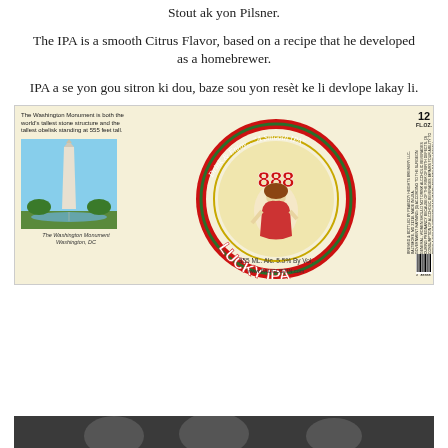Stout ak yon Pilsner.
The IPA is a smooth Citrus Flavor, based on a recipe that he developed as a homebrewer.
IPA a se yon gou sitron ki dou, baze sou yon resèt ke li devlope lakay li.
[Figure (photo): 888 Lucky IPA beer label featuring a woman figure in center circle, Washington Monument photo on the left side, and product details including 355 ML, Alc. 5.5% By Vol., www.PAUGUSTIN.com]
[Figure (photo): Partial image visible at bottom of page, dark background with partial figures]